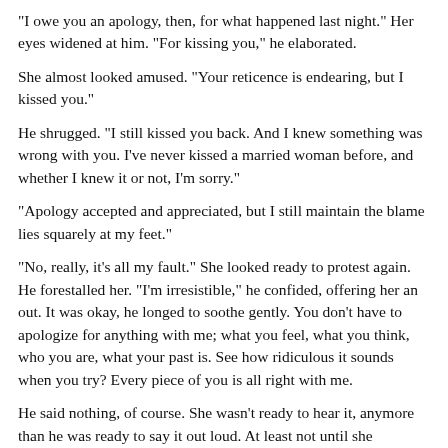"I owe you an apology, then, for what happened last night." Her eyes widened at him. "For kissing you," he elaborated.
She almost looked amused. "Your reticence is endearing, but I kissed you."
He shrugged. "I still kissed you back. And I knew something was wrong with you. I've never kissed a married woman before, and whether I knew it or not, I'm sorry."
"Apology accepted and appreciated, but I still maintain the blame lies squarely at my feet."
"No, really, it's all my fault." She looked ready to protest again. He forestalled her. "I'm irresistible," he confided, offering her an out. It was okay, he longed to soothe gently. You don't have to apologize for anything with me; what you feel, what you think, who you are, what your past is. See how ridiculous it sounds when you try? Every piece of you is all right with me.
He said nothing, of course. She wasn't ready to hear it, anymore than he was ready to say it out loud. At least not until she finished her little confession.